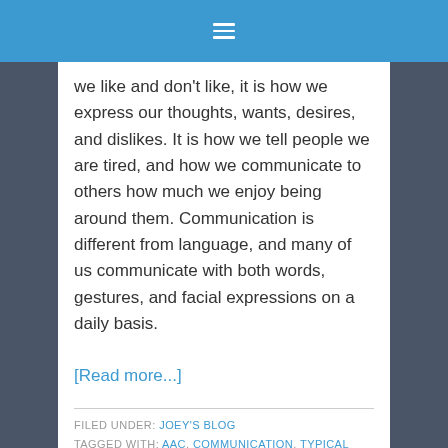☰
we like and don't like, it is how we express our thoughts, wants, desires, and dislikes. It is how we tell people we are tired, and how we communicate to others how much we enjoy being around them. Communication is different from language, and many of us communicate with both words, gestures, and facial expressions on a daily basis.
[Read more...]
FILED UNDER: JOEY'S BLOG
TAGGED WITH: AAC, COMMUNICATION, TYPICAL THREE YEAR OLD